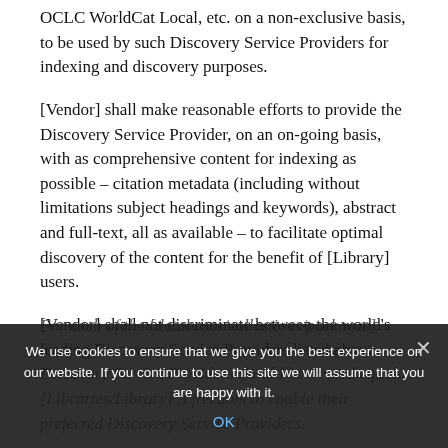OCLC WorldCat Local, etc. on a non-exclusive basis, to be used by such Discovery Service Providers for indexing and discovery purposes.
[Vendor] shall make reasonable efforts to provide the Discovery Service Provider, on an on-going basis, with as comprehensive content for indexing as possible – citation metadata (including without limitations subject headings and keywords), abstract and full-text, all as available – to facilitate optimal discovery of the content for the benefit of [Library] users.
[Vendor] shall not discriminate between the world's leading Discovery Service Providers listed above. Discovery Service Providers should be treated equal. [Libraries/Library] A freedom to enable their preferred Discovery Service Providers.
For each of the [databases/collections/packages]